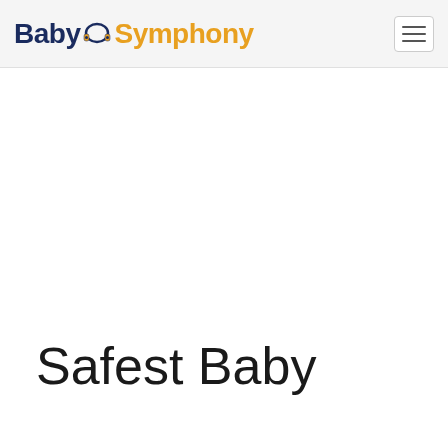[Figure (logo): Baby Symphony logo with headphones icon between 'Baby' in dark navy and 'Symphony' in golden yellow]
Safest Baby